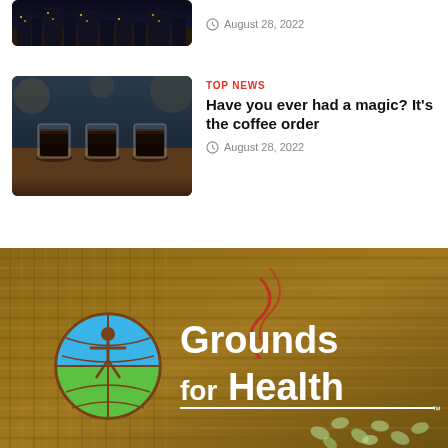[Figure (photo): City skyline photo at night — top of page, partially cropped]
August 28, 2022
[Figure (photo): Three espresso shots in small glasses on a wooden surface, blurred background]
TOP NEWS
Have you ever had a magic? It's the coffee order
August 28, 2022
[Figure (logo): Grounds for Health banner with logo — coffee beans background with burlap sack, Grounds for Health logo and text in white]